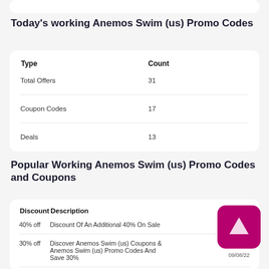Today's working Anemos Swim (us) Promo Codes
| Type | Count |
| --- | --- |
| Total Offers | 31 |
| Coupon Codes | 17 |
| Deals | 13 |
Popular Working Anemos Swim (us) Promo Codes and Coupons
| Discount | Description |  |
| --- | --- | --- |
| 40% off | Discount Of An Additional 40% On Sale |  |
| 30% off | Discover Anemos Swim (us) Coupons & Anemos Swim (us) Promo Codes And Save 30% | 09/08/22 |
| SALE | Anemos Swim (us) Offers A Free Gift With Every Purchase | 09/21/22 |